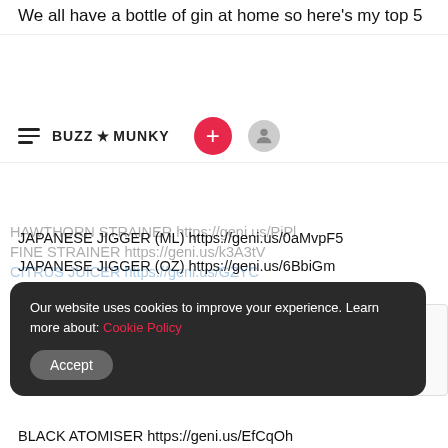We all have a bottle of gin at home so here's my top 5
[Figure (logo): BuzzMunky website navigation bar with hamburger menu, BUZZMUNKY logo, red plus button, and user icon]
JAPANESE JIGGER (ML) https://geni.us/0aMvpF5
JAPANESE JIGGER (OZ) https://geni.us/6BbiGm
BELL JIGGER https://geni.us/NcdVTO
GOLD BARSPOON https://geni.us/prL0uU
COPPER BARSPOON https://...NS
...WZ
HAWTHORN STRAINER https://geni.us/PdiPl
FINE STRAINER https://geni.us/k3A3tV
CITRUS JUICER https://geni.us/GZYC
[Figure (screenshot): Cookie consent banner: 'Our website uses cookies to improve your experience. Learn more about: Cookie Policy' with Accept button]
[Figure (screenshot): reCAPTCHA widget with Privacy and Terms links]
BLACK ATOMISER https://geni.us/EfCqOh